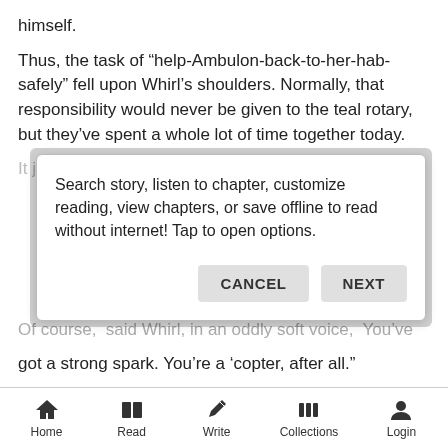himself.
Thus, the task of “help-Ambulon-back-to-her-hab-safely” fell upon Whirl’s shoulders. Normally, that responsibility would never be given to the teal rotary, but they’ve spent a whole lot of time together today.
[Figure (screenshot): Modal dialog overlay on reading app with text: 'Search story, listen to chapter, customize reading, view chapters, or save offline to read without internet! Tap to open options.' with CANCEL and NEXT buttons]
Of course, said Whirl, in an oddly soft voice, You’ve got a strong spark. You’re a ‘copter, after all.”
“Hm?” she looked up at him in confusion.
Home   Read   Write   Collections   Login